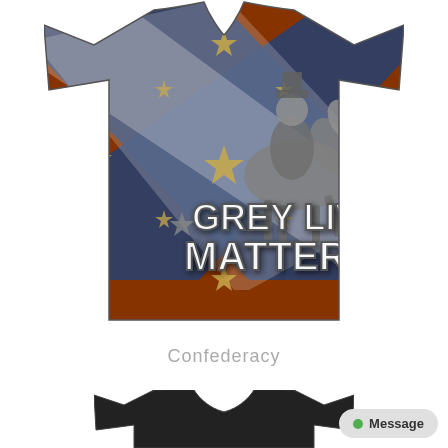[Figure (photo): A t-shirt printed with a Confederate battle flag design (blue X cross with white border and stars on a red/rust background), overlaid with a statue of a Confederate general on horseback, and bold text reading 'GREY LIVES MATTER' in distressed Western-style lettering.]
Confederacy
[Figure (photo): Partial view of a second t-shirt (dark/black) visible at the bottom of the page.]